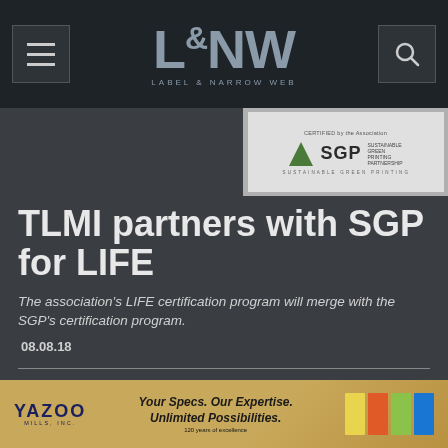L&NW LABEL & NARROW WEB
[Figure (logo): SGP certification program advertisement banner in top right]
TLMI partners with SGP for LIFE
The association's LIFE certification program will merge with the SGP's certification program.
08.08.18
Altana joins Landa Digital Printing in $300 million equity
[Figure (illustration): Yazoo Mills advertisement banner at bottom: Your Specs. Our Expertise. Unlimited Possibilities. 120 years of excellence]